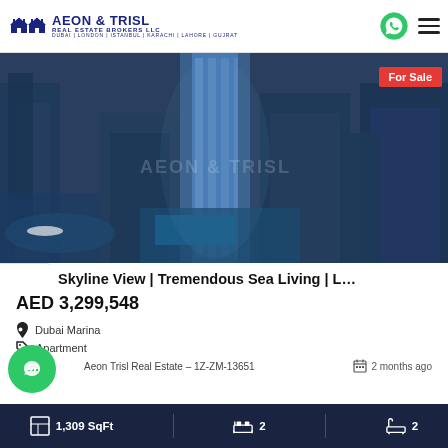[Figure (logo): Aeon & Trisl Real Estate Brokers LLC logo with two house icons and city names: Dubai | London | Istanbul | Karachi | Lahore | Gujrat]
[Figure (photo): Aerial view of Dubai Marina skyscrapers and waterfront development with For Sale badge]
Skyline View | Tremendous Sea Living | L...
AED 3,299,548
Dubai Marina
Apartment
Aeon Trisl Real Estate – 1Z-ZM-13651
2 months ago
1,309 SqFt
2
2